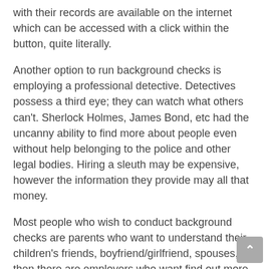with their records are available on the internet which can be accessed with a click within the button, quite literally.
Another option to run background checks is employing a professional detective. Detectives possess a third eye; they can watch what others can't. Sherlock Holmes, James Bond, etc had the uncanny ability to find more about people even without help belonging to the police and other legal bodies. Hiring a sleuth may be expensive, however the information they provide may all that money.
Most people who wish to conduct background checks are parents who want to understand their children's friends, boyfriend/girlfriend, spouses, then there are employers who want find out more about the capabilities of their potential works by using. No one wants to be associated with someone who has a criminal background or perhaps is famous for the vices in his/her character, and stuff like that. So these